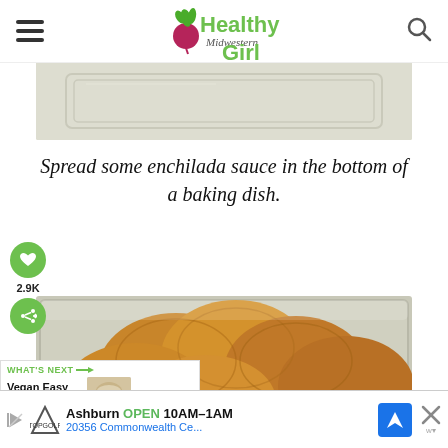Healthy Midwestern Girl
[Figure (photo): Top-down view of a glass baking dish on a light background, partially cropped]
Spread some enchilada sauce in the bottom of a baking dish.
[Figure (photo): Glass baking dish filled with golden-brown corn tortillas layered inside, viewed from above]
2.9K
WHAT'S NEXT → Vegan Easy Cheezy Sauce
[Figure (screenshot): Ad banner: Topgolf Ashburn OPEN 10AM-1AM, 20356 Commonwealth Ce...]